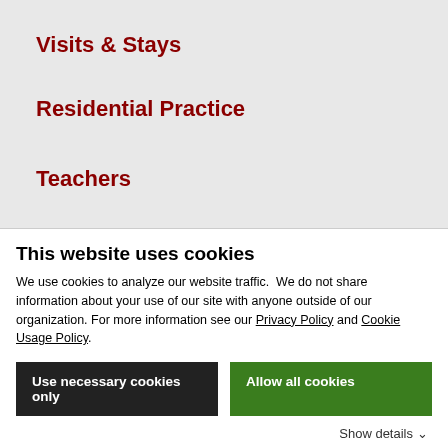Visits & Stays
Residential Practice
Teachers
Contact
TASSAJARA
Visits & Stays
Residential Practice
This website uses cookies
We use cookies to analyze our website traffic.  We do not share information about your use of our site with anyone outside of our organization. For more information see our Privacy Policy and Cookie Usage Policy.
Use necessary cookies only
Allow all cookies
Show details